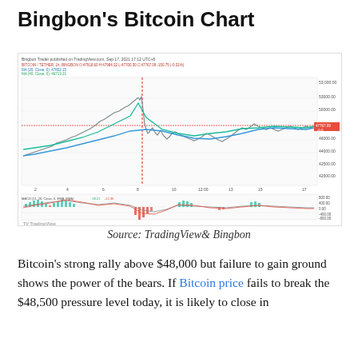Bingbon's Bitcoin Chart
[Figure (continuous-plot): Bitcoin/USDT hourly price chart from TradingView published by Bingbon Trader on Sep 17, 2021 17:12 UTC+8. Shows candlestick price action with moving averages (cyan lines), a horizontal resistance line, and a red vertical drop. Price ranged roughly from 43000 to 53000. Below is a MACD indicator panel with histogram bars and signal lines.]
Source: TradingView& Bingbon
Bitcoin's strong rally above $48,000 but failure to gain ground shows the power of the bears. If Bitcoin price fails to break the $48,500 pressure level today, it is likely to close in